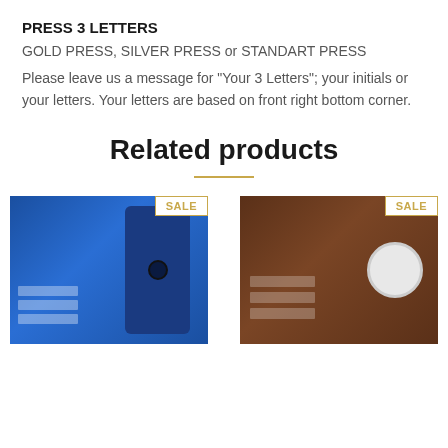PRESS 3 LETTERS
GOLD PRESS, SILVER PRESS or STANDART PRESS
Please leave us a message for "Your 3 Letters"; your initials or your letters. Your letters are based on front right bottom corner.
Related products
[Figure (photo): Blue leather wallet phone case with card slots on the left and phone visible on the right, with a SALE badge]
[Figure (photo): Brown leather wallet phone case with card slots on the left and a circular ring holder on the right, with a SALE badge]